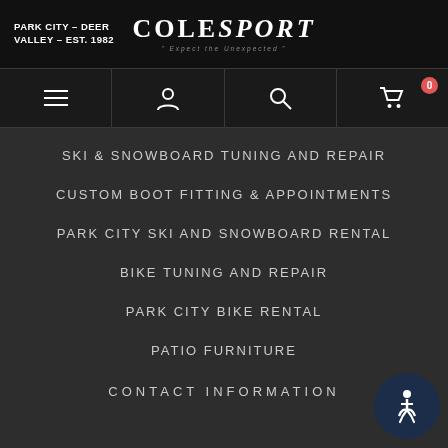PARK CITY - DEER VALLEY - EST. 1982
ColeSport
SKI & SNOWBOARD TUNING AND REPAIR
CUSTOM BOOT FITTING & APPOINTMENTS
PARK CITY SKI AND SNOWBOARD RENTAL
BIKE TUNING AND REPAIR
PARK CITY BIKE RENTAL
PATIO FURNITURE
CONTACT INFORMATION